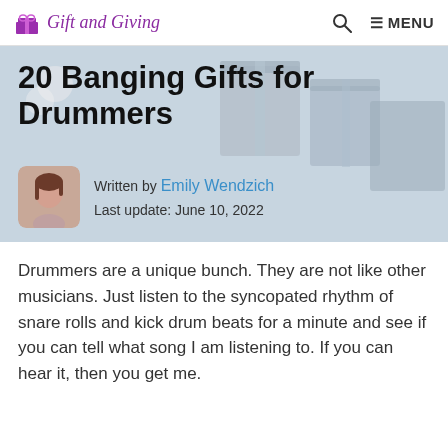Gift and Giving  🔍  ≡ MENU
[Figure (photo): Hero banner image showing gift boxes in soft blue and white tones, with the article title '20 Banging Gifts for Drummers' overlaid, and author photo and byline at the bottom.]
20 Banging Gifts for Drummers
Written by Emily Wendzich
Last update: June 10, 2022
Drummers are a unique bunch. They are not like other musicians. Just listen to the syncopated rhythm of snare rolls and kick drum beats for a minute and see if you can tell what song I am listening to. If you can hear it, then you get me.